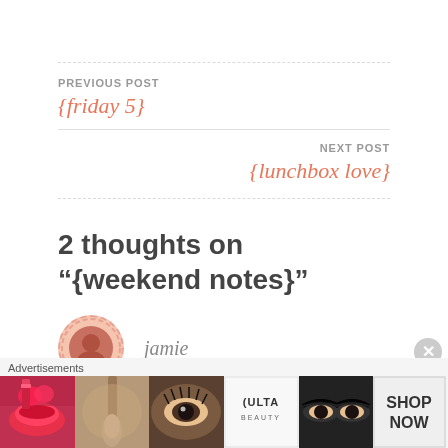PREVIOUS POST
{friday 5}
NEXT POST
{lunchbox love}
2 thoughts on “{weekend notes}”
jamie
[Figure (other): Advertisement banner with beauty/makeup product images including lips, brush, eye, ULTA logo, eyes, and SHOP NOW button]